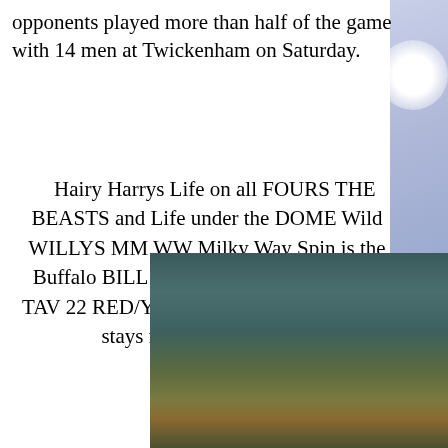opponents played more than half of the game with 14 men at Twickenham on Saturday.
Hairy Harrys Life on all FOURS THE BEASTS and Life under the DOME Wild WILLYS MM WW Milky Way Spin is the Buffalo BILL BB/22 V for Victory ALEF TAV 22 RED/Yellow The REIGN in SPAIN stays mainly on the Plain
[Figure (photo): Blurred outdoor photograph, appears to show a sports or outdoor scene with green/brown tones at the bottom. A dark back-to-top button with an upward chevron arrow is overlaid on the image in the upper-right area.]